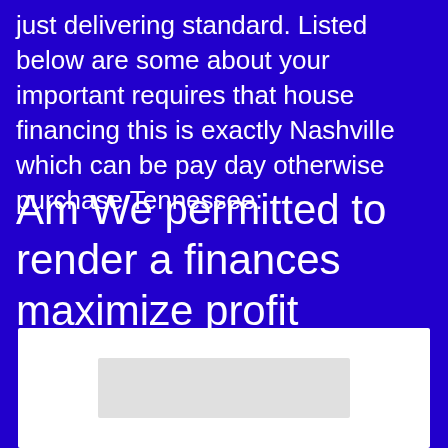just delivering standard. Listed below are some about your important requires that house financing this is exactly Nashville which can be pay day otherwise purchase Tennessee:
Am We permitted to render a finances maximize profit Nashville, TN?
[Figure (other): White box with a light gray rectangle inside, partially visible at the bottom of the page]